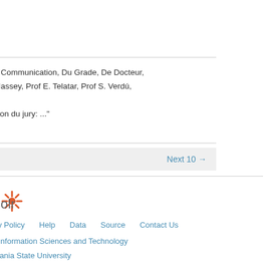e Communication, Du Grade, De Docteur,
Massey, Prof E. Telatar, Prof S. Verdú,

ition du jury: ..."
Next 10 →
[Figure (logo): Solr logo with orange sunburst icon]
cy Policy   Help   Data   Source   Contact Us
f Information Sciences and Technology
lvania State University